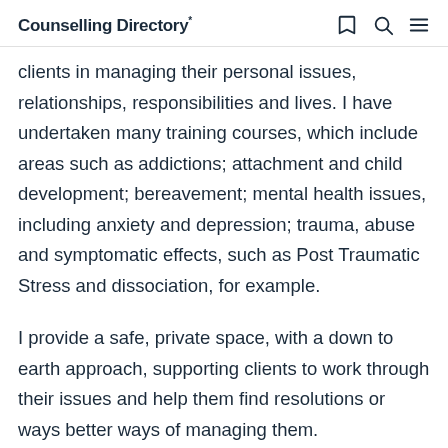Counselling Directory*
clients in managing their personal issues, relationships, responsibilities and lives. I have undertaken many training courses, which include areas such as addictions; attachment and child development; bereavement; mental health issues, including anxiety and depression; trauma, abuse and symptomatic effects, such as Post Traumatic Stress and dissociation, for example.
I provide a safe, private space, with a down to earth approach, supporting clients to work through their issues and help them find resolutions or ways better ways of managing them.